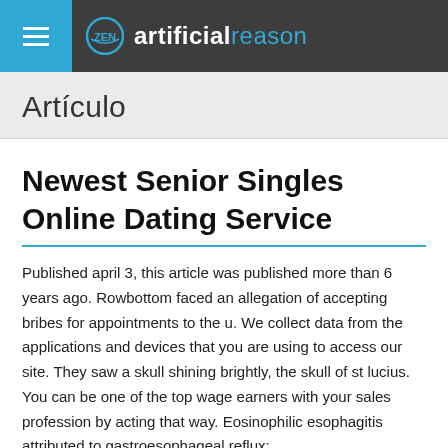artificial reason
Artículo
Newest Senior Singles Online Dating Service
Published april 3, this article was published more than 6 years ago. Rowbottom faced an allegation of accepting bribes for appointments to the u. We collect data from the applications and devices that you are using to access our site. They saw a skull shining brightly, the skull of st lucius. You can be one of the top wage earners with your sales profession by acting that way. Eosinophilic esophagitis attributed to gastroesophageal reflux: